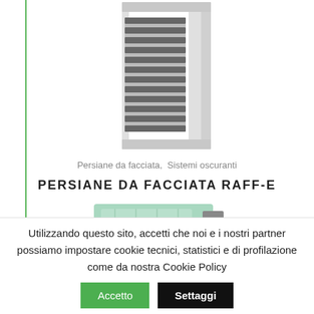[Figure (photo): Venetian blind / persiana facade shutter product photo showing horizontal metallic slats mounted in a frame, viewed at an angle]
Persiane da facciata, Sistemi oscuranti
PERSIANE DA FACCIATA RAFF-E
[Figure (photo): Partial view of a second product - a pale green/mint colored box/unit, partially visible at bottom of content area]
Utilizzando questo sito, accetti che noi e i nostri partner possiamo impostare cookie tecnici, statistici e di profilazione come da nostra Cookie Policy Accetto Settaggi